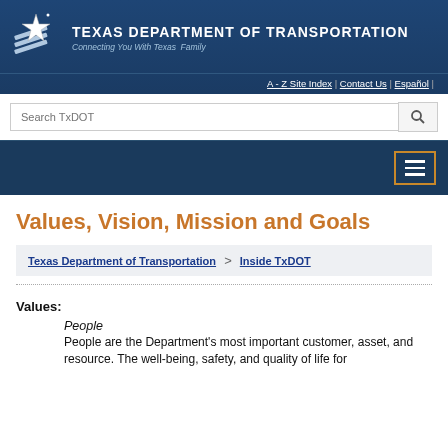[Figure (logo): Texas Department of Transportation logo with star and slash mark]
TEXAS DEPARTMENT OF TRANSPORTATION
Connecting You With Texas Family
A - Z Site Index | Contact Us | Español |
Values, Vision, Mission and Goals
Texas Department of Transportation > Inside TxDOT
Values:
People
People are the Department's most important customer, asset, and resource. The well-being, safety, and quality of life for